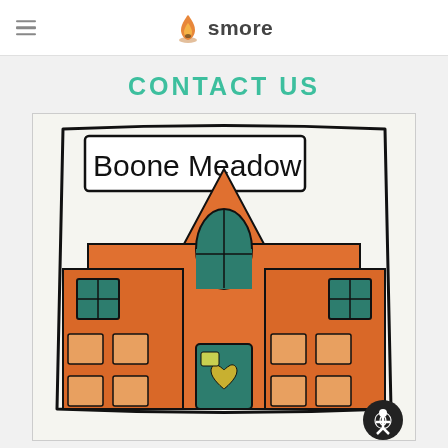smore
CONTACT US
[Figure (illustration): Child's crayon drawing of a school building labeled 'Boone Meadow'. The building is drawn in orange crayon with a tall pointed roof/steeple in the center, teal/dark blue windows and a front door, and the name 'Boone Meadow' written in black marker at the top inside a bordered frame.]